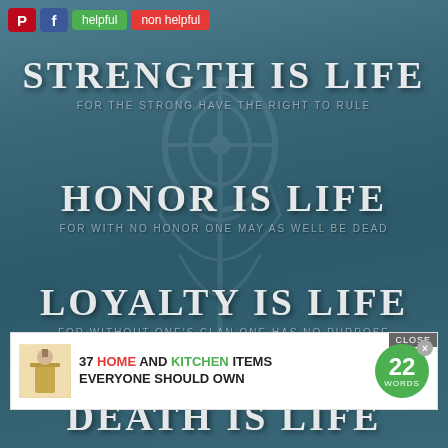[Figure (infographic): Motivational quote image with dark teal/blue background and decorative emblem. Contains four 'X is Life' quotes with subtext lines, social sharing toolbar at top, and an advertisement banner.]
STRENGTH IS LIFE
FOR THE STRONG HAVE THE RIGHT TO RULE
HONOR IS LIFE
FOR WITH NO HONOR ONE MAY AS WELL BE DEAD
LOYALTY IS LIFE
FOR WITHOUT ONE'S CLAN ONE HAS NO PURPOSE
DEATH IS LIFE
37 HOME AND KITCHEN ITEMS EVERYONE SHOULD OWN